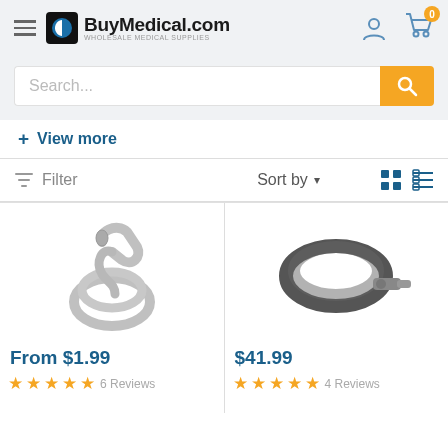BuyMedical.com WHOLESALE MEDICAL SUPPLIES
Search...
+ View more
Filter  Sort by
[Figure (photo): Medical tubing/hose coiled, product image]
From $1.99
6 Reviews
[Figure (photo): Medical flexible hose/connector ring, product image]
$41.99
4 Reviews